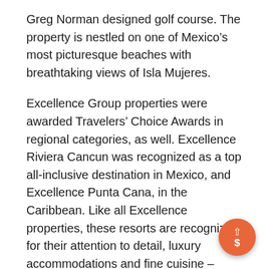Greg Norman designed golf course. The property is nestled on one of Mexico's most picturesque beaches with breathtaking views of Isla Mujeres.
Excellence Group properties were awarded Travelers' Choice Awards in regional categories, as well. Excellence Riviera Cancun was recognized as a top all-inclusive destination in Mexico, and Excellence Punta Cana, in the Caribbean. Like all Excellence properties, these resorts are recognized for their attention to detail, luxury accommodations and fine cuisine – elements that help to create an enhanced vacation experience.
“Delivering high quality services and products to our guests is always our top goal at Excellence Group, and we are proud to hold each property to an extraordinary standard of excellence,” says Domingo Aznar, Vice President of Sales & Marketing for Excellence Group.